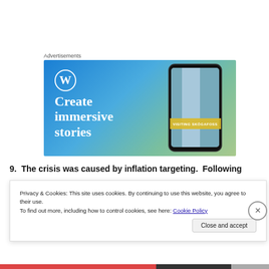Advertisements
[Figure (illustration): WordPress advertisement banner with blue gradient background, WordPress logo (W in circle), text 'Create immersive stories', and a phone mockup showing a waterfall image with 'VISITING SKOGAFOSS' banner]
9.  The crisis was caused by inflation targeting.  Following
Privacy & Cookies: This site uses cookies. By continuing to use this website, you agree to their use.
To find out more, including how to control cookies, see here: Cookie Policy
Close and accept